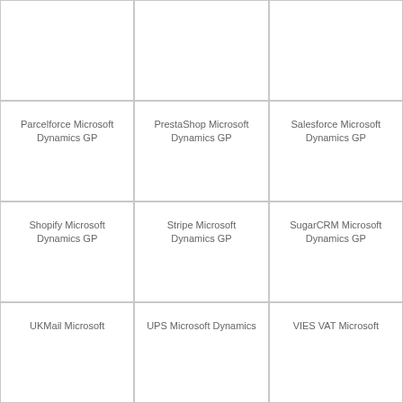Parcelforce Microsoft Dynamics GP
PrestaShop Microsoft Dynamics GP
Salesforce Microsoft Dynamics GP
Shopify Microsoft Dynamics GP
Stripe Microsoft Dynamics GP
SugarCRM Microsoft Dynamics GP
UKMail Microsoft
UPS Microsoft Dynamics
VIES VAT Microsoft